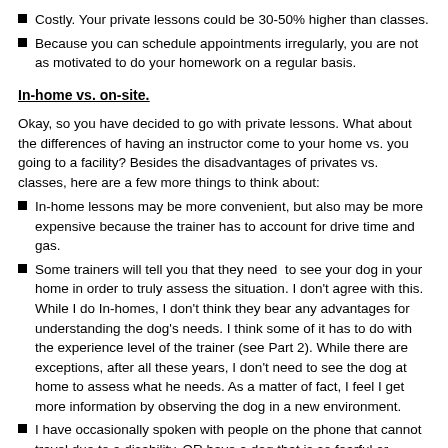Costly. Your private lessons could be 30-50% higher than classes.
Because you can schedule appointments irregularly, you are not as motivated to do your homework on a regular basis.
In-home vs. on-site.
Okay, so you have decided to go with private lessons. What about the differences of having an instructor come to your home vs. you going to a facility? Besides the disadvantages of privates vs. classes, here are a few more things to think about:
In-home lessons may be more convenient, but also may be more expensive because the trainer has to account for drive time and gas.
Some trainers will tell you that they need to see your dog in your home in order to truly assess the situation. I don't agree with this. While I do In-homes, I don't think they bear any advantages for understanding the dog's needs. I think some of it has to do with the experience level of the trainer (see Part 2). While there are exceptions, after all these years, I don't need to see the dog at home to assess what he needs. As a matter of fact, I feel I get more information by observing the dog in a new environment.
I have occasionally spoken with people on the phone that cannot travel due to a disability, OR have a dog that is so fearful or unmanageable that they cannot get the dog to my facility. In those situations, in-home training would be preferred.
There are several reasons I like the clients to come to me: